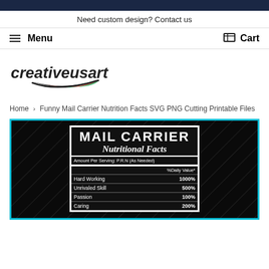Need custom design? Contact us
Menu  Cart
[Figure (logo): creativeusart logo with swoosh in green, red, black colors]
Home › Funny Mail Carrier Nutrition Facts SVG PNG Cutting Printable Files
[Figure (illustration): Funny Mail Carrier Nutritional Facts label on black background with diagonal pattern. Shows: MAIL CARRIER Nutritional Facts, Amount Per Serving: P.R.N (As Needed), %Daily Value*, Hard Working 1000%, Unrivaled Skill 500%, Passion 100%, Caring 200%]